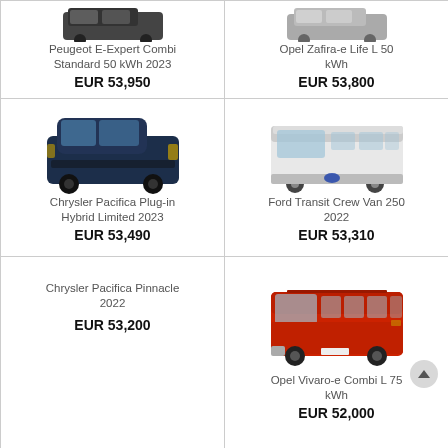[Figure (photo): Peugeot E-Expert Combi van - dark color, partial view at top]
Peugeot E-Expert Combi Standard 50 kWh 2023
EUR 53,950
[Figure (photo): Opel Zafira-e Life van - partial view at top]
Opel Zafira-e Life L 50 kWh
EUR 53,800
[Figure (photo): Chrysler Pacifica Plug-in Hybrid Limited 2023 - dark blue minivan]
Chrysler Pacifica Plug-in Hybrid Limited 2023
EUR 53,490
[Figure (photo): Ford Transit Crew Van 250 2022 - white large van]
Ford Transit Crew Van 250 2022
EUR 53,310
Chrysler Pacifica Pinnacle 2022
EUR 53,200
[Figure (photo): Opel Vivaro-e Combi L 75 kWh - red passenger van]
Opel Vivaro-e Combi L 75 kWh
EUR 52,000